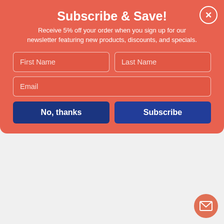Subscribe & Save!
Receive 5% off your order when you sign up for our newsletter featuring new products, discounts, and specials.
First Name | Last Name | Email (form fields)
No, thanks | Subscribe (buttons)
ITEM ID: SMD61951
$59.83 BX
Qty 1  Add to Cart
In Stock
Colored Poly Out Guides with Pockets, 1/3-Cut End Tab, Out, 8.5 x